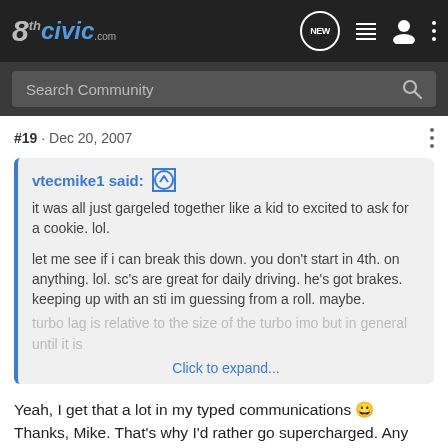8thCivic.com — navigation bar with Search Community, NEW, list, user, more icons
#19 · Dec 20, 2007
vtecmike1 said: ↑
it was all just gargeled together like a kid to excited to ask for a cookie. lol.

let me see if i can break this down. you don't start in 4th. on anything. lol. sc's are great for daily driving. he's got brakes. keeping up with an sti im guessing from a roll. maybe.
turbo lag is relative to the size of the turbo imo but in general until it is
Click to expand...
Yeah, I get that a lot in my typed communications 😀
Thanks, Mike. That's why I'd rather go supercharged. Any thoughts on autox'ing a sc'd si?